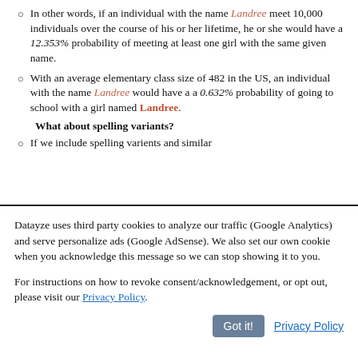In other words, if an individual with the name Landree meet 10,000 individuals over the course of his or her lifetime, he or she would have a 12.353% probability of meeting at least one girl with the same given name.
With an average elementary class size of 482 in the US, an individual with the name Landree would have a a 0.632% probability of going to school with a girl named Landree.
What about spelling variants?
If we include spelling varients and similar
Datayze uses third party cookies to analyze our traffic (Google Analytics) and serve personalize ads (Google AdSense). We also set our own cookie when you acknowledge this message so we can stop showing it to you.
For instructions on how to revoke consent/acknowledgement, or opt out, please visit our Privacy Policy.